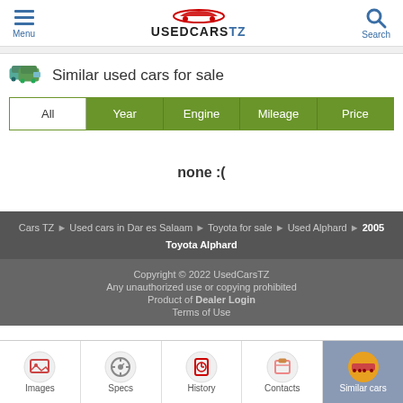Menu | USEDCARSTZ | Search
Similar used cars for sale
All | Year | Engine | Mileage | Price
none :(
Cars TZ > Used cars in Dar es Salaam > Toyota for sale > Used Alphard > 2005 Toyota Alphard
Copyright © 2022 UsedCarsTZ
Any unauthorized use or copying prohibited
Product of Dealer Login
Terms of Use
Images | Specs | History | Contacts | Similar cars